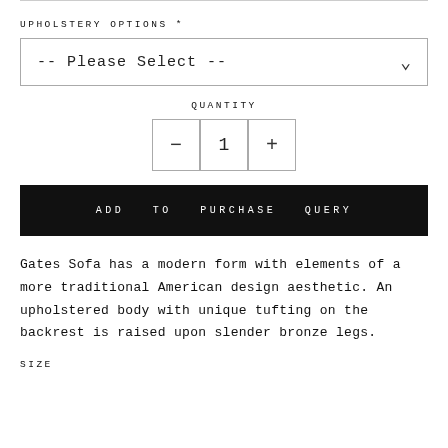UPHOLSTERY OPTIONS *
-- Please Select --
QUANTITY
- 1 +
ADD TO PURCHASE QUERY
Gates Sofa has a modern form with elements of a more traditional American design aesthetic. An upholstered body with unique tufting on the backrest is raised upon slender bronze legs.
SIZE